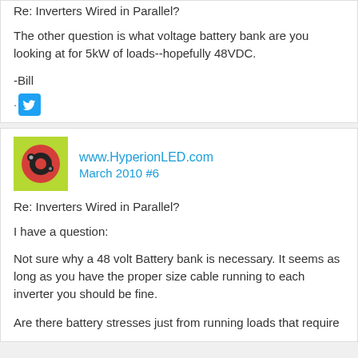Re: Inverters Wired in Parallel?
The other question is what voltage battery bank are you looking at for 5kW of loads--hopefully 48VDC.
-Bill
[Figure (logo): Twitter bird icon in blue square]
www.HyperionLED.com  March 2010 #6
Re: Inverters Wired in Parallel?
I have a question:
Not sure why a 48 volt Battery bank is necessary. It seems as long as you have the proper size cable running to each inverter you should be fine.
Are there battery stresses just from running loads that require